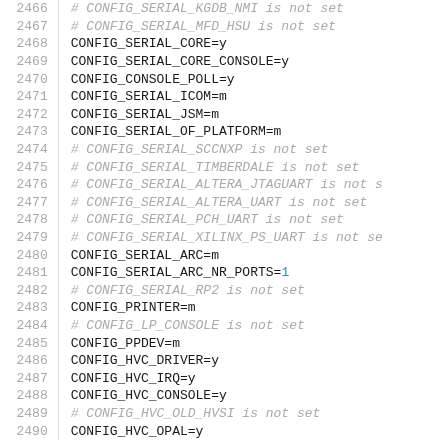2466 # CONFIG_SERIAL_KGDB_NMI is not set
2467 # CONFIG_SERIAL_MFD_HSU is not set
2468 CONFIG_SERIAL_CORE=y
2469 CONFIG_SERIAL_CORE_CONSOLE=y
2470 CONFIG_CONSOLE_POLL=y
2471 CONFIG_SERIAL_ICOM=m
2472 CONFIG_SERIAL_JSM=m
2473 CONFIG_SERIAL_OF_PLATFORM=m
2474 # CONFIG_SERIAL_SCCNXP is not set
2475 # CONFIG_SERIAL_TIMBERDALE is not set
2476 # CONFIG_SERIAL_ALTERA_JTAGUART is not set
2477 # CONFIG_SERIAL_ALTERA_UART is not set
2478 # CONFIG_SERIAL_PCH_UART is not set
2479 # CONFIG_SERIAL_XILINX_PS_UART is not set
2480 CONFIG_SERIAL_ARC=m
2481 CONFIG_SERIAL_ARC_NR_PORTS=1
2482 # CONFIG_SERIAL_RP2 is not set
2483 CONFIG_PRINTER=m
2484 # CONFIG_LP_CONSOLE is not set
2485 CONFIG_PPDEV=m
2486 CONFIG_HVC_DRIVER=y
2487 CONFIG_HVC_IRQ=y
2488 CONFIG_HVC_CONSOLE=y
2489 # CONFIG_HVC_OLD_HVSI is not set
2490 CONFIG_HVC_OPAL=y